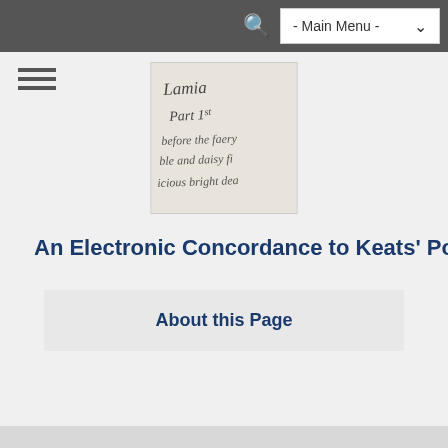- Main Menu -
[Figure (illustration): Manuscript page showing handwritten text: 'Lamia Part 1st before the faery ble and daisy fi icious bright dea']
An Electronic Concordance to Keats' Poetry
About this Page